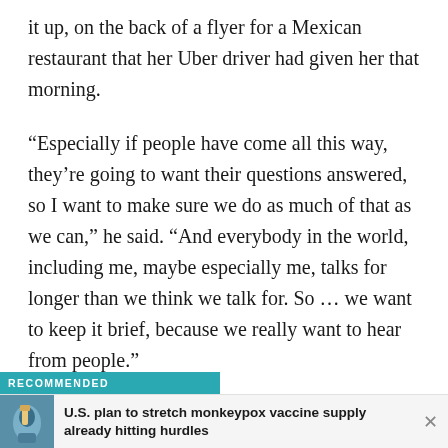it up, on the back of a flyer for a Mexican restaurant that her Uber driver had given her that morning.
“Especially if people have come all this way, they’re going to want their questions answered, so I want to make sure we do as much of that as we can,” he said. “And everybody in the world, including me, maybe especially me, talks for longer than we think we talk for. So … we want to keep it brief, because we really want to hear from people.”
RECOMMENDED
U.S. plan to stretch monkeypox vaccine supply already hitting hurdles